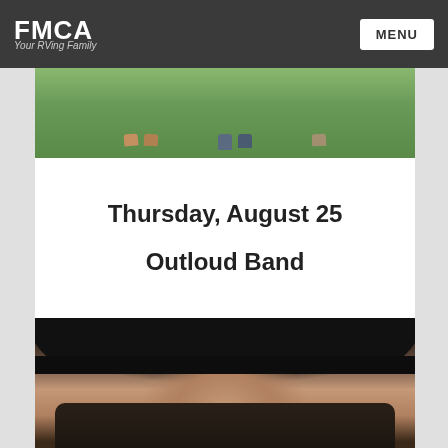FMCA Your RVing Family — MENU
[Figure (photo): Top portion of photo showing people's feet/legs standing on grass, cropped]
Thursday, August 25
Outloud Band
[Figure (photo): Portrait photo of a young man wearing a black cowboy hat and dark shirt, smiling]